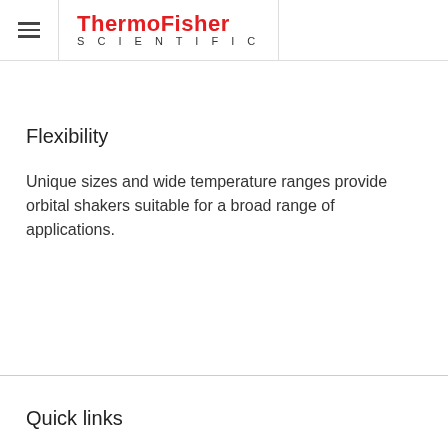ThermoFisher SCIENTIFIC
Flexibility
Unique sizes and wide temperature ranges provide orbital shakers suitable for a broad range of applications.
Quick links